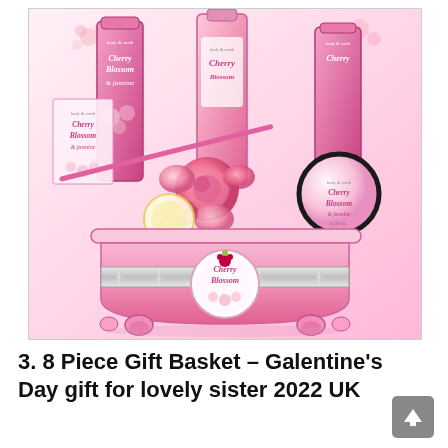[Figure (photo): Body & Earth Cherry Blossom & Jasmine 8-piece bath gift set in a pink miniature bathtub with silver ribbon bow, containing various pink bottles, a round jar, bath puff, loofah brush, and pink roses, with a Cherry Blossom round label tag.]
3. 8 Piece Gift Basket – Galentine's Day gift for lovely sister 2022 UK